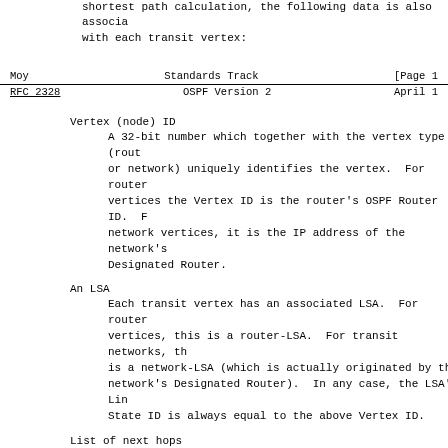shortest path calculation, the following data is also associated with each transit vertex:
Moy                         Standards Track                    [Page 1
RFC 2328                    OSPF Version 2                     April 1
Vertex (node) ID
    A 32-bit number which together with the vertex type (router or network) uniquely identifies the vertex.  For router vertices the Vertex ID is the router's OSPF Router ID.  For network vertices, it is the IP address of the network's Designated Router.
An LSA
    Each transit vertex has an associated LSA.  For router vertices, this is a router-LSA.  For transit networks, this is a network-LSA (which is actually originated by the network's Designated Router).  In any case, the LSA's Link State ID is always equal to the above Vertex ID.
List of next hops
    The list of next hops for the current set of shortest paths from the root to this vertex.  There can be multiple shortest paths due to the equal-cost multipath capability.  Each next hop indicates the outgoing router interface to use when forwarding traffic to the destination.  On broadcast, Point-to-MultiPoint and NBMA networks, the next hop also includes the IP address of the next router (if any) in the path towards the destination.
Distance from root
    The link state cost of the current set of shortest paths from the root to this vertex.